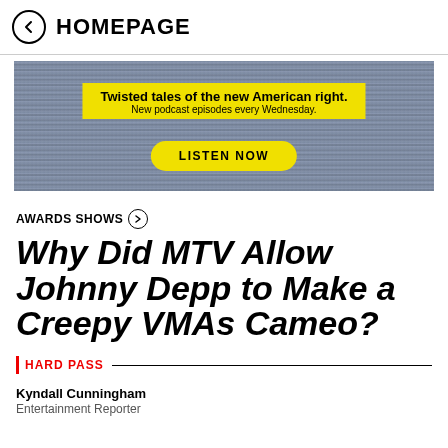← HOMEPAGE
[Figure (screenshot): Advertisement banner with static/noise background. Yellow box reads 'Twisted tales of the new American right. New podcast episodes every Wednesday.' Yellow pill button reads 'LISTEN NOW']
AWARDS SHOWS →
Why Did MTV Allow Johnny Depp to Make a Creepy VMAs Cameo?
HARD PASS
Kyndall Cunningham
Entertainment Reporter